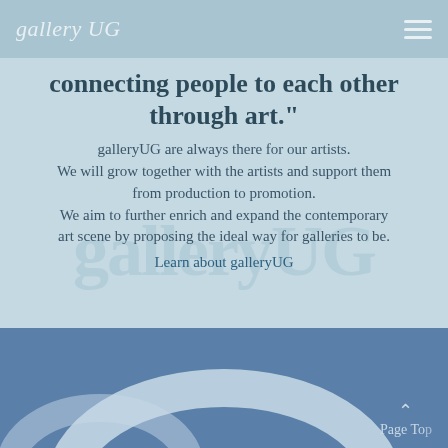gallery UG
connecting people to each other through art."
galleryUG are always there for our artists. We will grow together with the artists and support them from production to promotion. We aim to further enrich and expand the contemporary art scene by proposing the ideal way for galleries to be.
Learn about galleryUG
[Figure (photo): Blue-toned abstract art photograph showing curved white/light forms against a steel blue background, partially cropped at bottom of page.]
Page Top